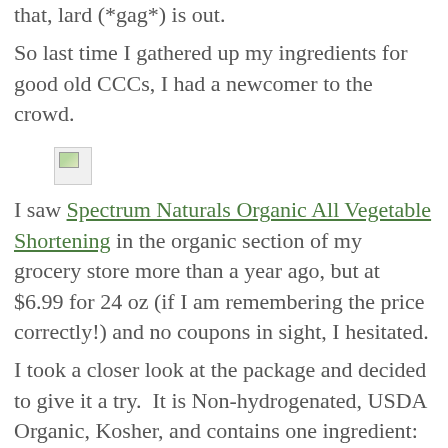that, lard (*gag*) is out.
So last time I gathered up my ingredients for good old CCCs, I had a newcomer to the crowd.
[Figure (photo): Broken image placeholder icon]
I saw Spectrum Naturals Organic All Vegetable Shortening in the organic section of my grocery store more than a year ago, but at $6.99 for 24 oz (if I am remembering the price correctly!) and no coupons in sight, I hesitated.
I took a closer look at the package and decided to give it a try.  It is Non-hydrogenated, USDA Organic, Kosher, and contains one ingredient: Mechanically pressed organic palm oil.  Compare that with